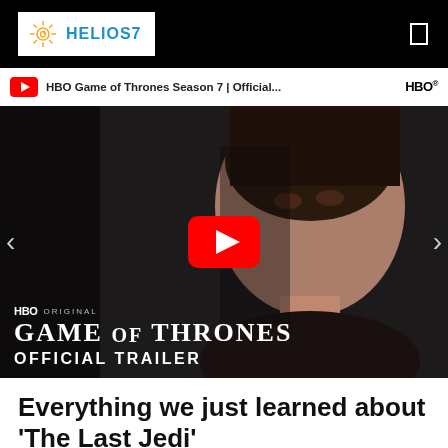HELIOS7
[Figure (screenshot): YouTube embedded video player showing HBO Game of Thrones Season 7 Official Trailer. A woman (Cersei Lannister) is shown in the thumbnail. A large red YouTube play button is centered. Text overlay reads: HBO ORIGINAL / GAME OF THRONES / OFFICIAL TRAILER. Navigation arrows on left and right sides.]
Everything we just learned about ‘The Last Jedi’